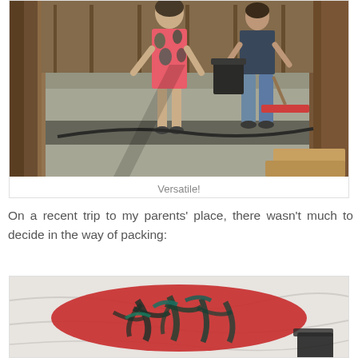[Figure (photo): Two people standing on a concrete construction site floor surrounded by wooden framing, with a broom and a black bucket visible. One person wears a floral pink dress.]
Versatile!
On a recent trip to my parents' place, there wasn't much to decide in the way of packing:
[Figure (photo): Close-up of a folded floral/tropical print clothing item (red with dark palm leaves) laid on white fabric or bedding.]